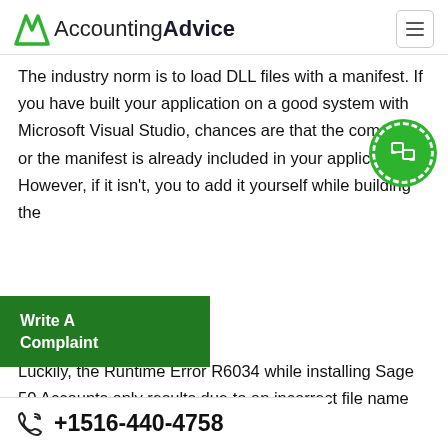AccountingAdvice
The industry norm is to load DLL files with a manifest. If you have built your application on a good system with Microsoft Visual Studio, chances are that the compiler or the manifest is already included in your application. However, if it isn't, you to add it yourself while building the
Write A Complaint
Luckily, the Runtime Error R6034 while installing Sage 50 Accounts only results due to an incorrect file name on the file that has the manifest or a
+1516-440-4758